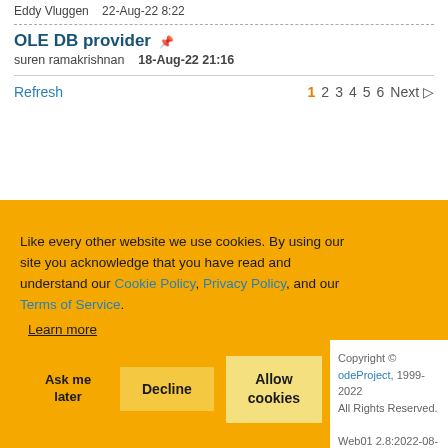Eddy Vluggen   22-Aug-22 8:22
OLE DB provider
suren ramakrishnan   18-Aug-22 21:16
Refresh   1 2 3 4 5 6 Next ▷
Like every other website we use cookies. By using our site you acknowledge that you have read and understand our Cookie Policy, Privacy Policy, and our Terms of Service. Learn more
Ask me later   Decline   Allow cookies
Copyright © odeProject, 1999-2022 All Rights Reserved. Web01 2.8:2022-08-31:1